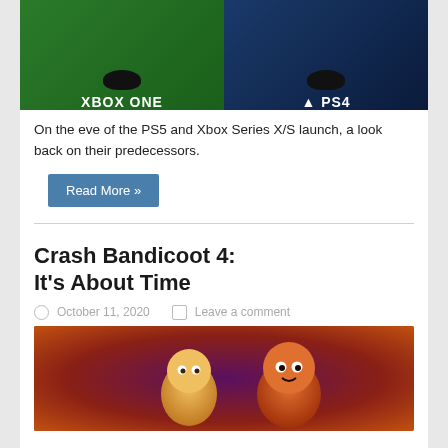[Figure (photo): Xbox One and PS4 consoles side by side on green and blue background with respective logos]
On the eve of the PS5 and Xbox Series X/S launch, a look back on their predecessors.
Read More »
Crash Bandicoot 4: It's About Time
October 11, 2020  Leave a comment
[Figure (photo): Crash Bandicoot 4: It's About Time promotional image showing Crash and Coco characters]